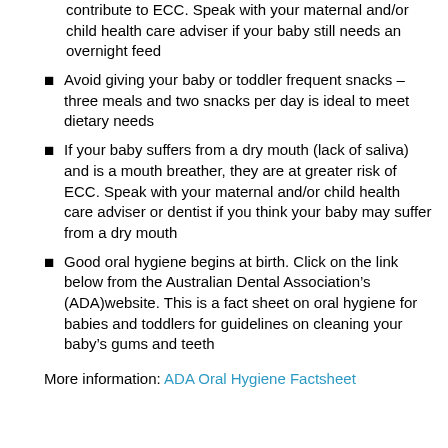contribute to ECC. Speak with your maternal and/or child health care adviser if your baby still needs an overnight feed
Avoid giving your baby or toddler frequent snacks – three meals and two snacks per day is ideal to meet dietary needs
If your baby suffers from a dry mouth (lack of saliva) and is a mouth breather, they are at greater risk of ECC. Speak with your maternal and/or child health care adviser or dentist if you think your baby may suffer from a dry mouth
Good oral hygiene begins at birth. Click on the link below from the Australian Dental Association's (ADA)website. This is a fact sheet on oral hygiene for babies and toddlers for guidelines on cleaning your baby's gums and teeth
More information: ADA Oral Hygiene Factsheet